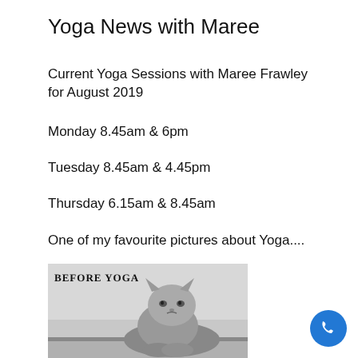Yoga News with Maree
Current Yoga Sessions with Maree Frawley for August 2019
Monday 8.45am & 6pm
Tuesday 8.45am & 4.45pm
Thursday 6.15am & 8.45am
One of my favourite pictures about Yoga....
[Figure (photo): Black and white photo of a grumpy cat sitting with paws crossed, with text 'BEFORE YOGA' overlaid on the top left]
[Figure (other): Blue circular phone/call button icon in the bottom right corner]